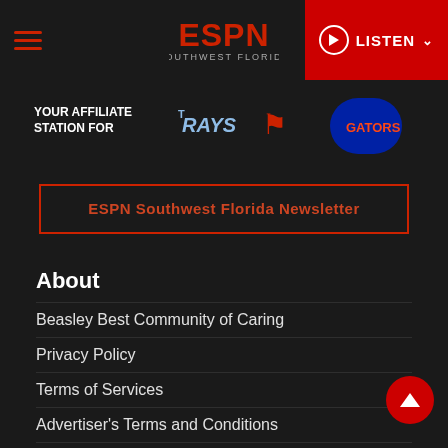ESPN Southwest Florida — LISTEN
[Figure (logo): ESPN Southwest Florida logo with affiliate sports team logos: Rays, Buccaneers, Gators]
ESPN Southwest Florida Newsletter
About
Beasley Best Community of Caring
Privacy Policy
Terms of Services
Advertiser's Terms and Conditions
DMCA
EEO